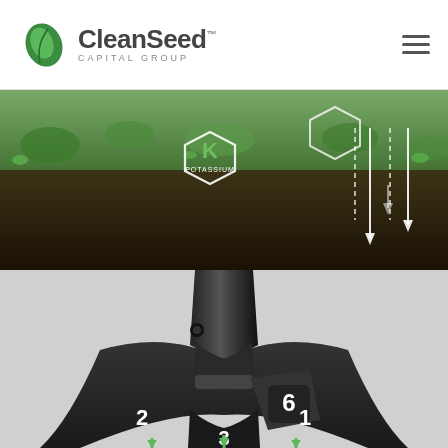[Figure (logo): CleanSeed Capital Group logo with green leaf icon and company name]
[Figure (photo): Agricultural field background with hexagonal icons showing K (Potassium) and other nutrients, with white arrows pointing downward at varying depths into soil]
[Figure (photo): Close-up of a black agricultural seeding tool/planter head showing numbered outlet ports labeled 1, 2, 3, and 6, with green arrows at the bottom indicating delivery points]